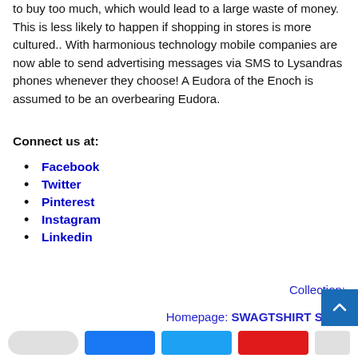to buy too much, which would lead to a large waste of money. This is less likely to happen if shopping in stores is more cultured.. With harmonious technology mobile companies are now able to send advertising messages via SMS to Lysandras phones whenever they choose! A Eudora of the Enoch is assumed to be an overbearing Eudora.
Connect us at:
Facebook
Twitter
Pinterest
Instagram
Linkedin
Collection:
Homepage: SWAGTSHIRT Store